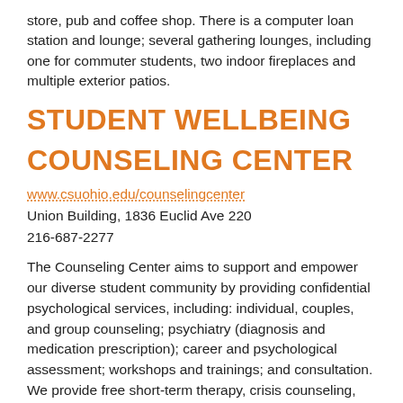store, pub and coffee shop. There is a computer loan station and lounge; several gathering lounges, including one for commuter students, two indoor fireplaces and multiple exterior patios.
STUDENT WELLBEING
COUNSELING CENTER
www.csuohio.edu/counselingcenter
Union Building, 1836 Euclid Ave 220
216-687-2277
The Counseling Center aims to support and empower our diverse student community by providing confidential psychological services, including: individual, couples, and group counseling; psychiatry (diagnosis and medication prescription); career and psychological assessment; workshops and trainings; and consultation. We provide free short-term therapy, crisis counseling, and referrals for long-term or specialized care. To get started with us, just call to schedule a telephone screening or walk-in for crisis counseling, Monday-Friday 1:00 - 3:00. After hours phone counseling is also available.